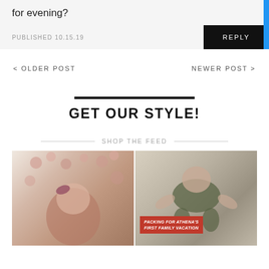for evening?
PUBLISHED 10.15.19
REPLY
< OLDER POST
NEWER POST >
GET OUR STYLE!
SHOP THE FEED
[Figure (photo): Baby girl with bow headband sitting in basket, with hot air balloon decorations in background]
[Figure (photo): Baby in green romper lying on textured surface with overlay text 'PACKING FOR ATHENA'S FIRST FAMILY VACATION']